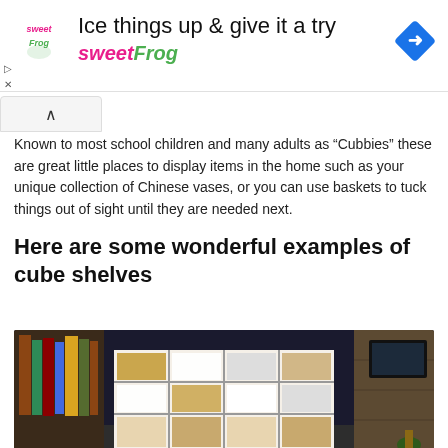[Figure (other): sweetFrog advertisement banner with logo, headline 'Ice things up & give it a try sweetFrog', and blue diamond navigation icon]
Known to most school children and many adults as “Cubbies” these are great little places to display items in the home such as your unique collection of Chinese vases, or you can use baskets to tuck things out of sight until they are needed next.
Here are some wonderful examples of cube shelves
[Figure (photo): Interior room photograph showing cube shelves filled with books and items, with a dark ceiling and wood-paneled wall with a TV on the right]